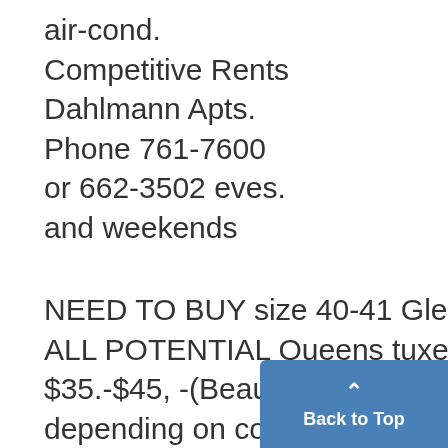air-cond.
Competitive Rents
Dahlmann Apts.
Phone 761-7600
or 662-3502 eves.
and weekends
NEED TO BUY size 40-41 Glee Club ATTENTION-ALL POTENTIAL Queens tuxedo (regular). Will pay $35.-$45, -(Beauty or )otherwise). CAMPUS depending on condition. Call La CLEOPATRA CONTEST. Sponsor 761-5950. EE by Sphinx. Call Bob Otavian.